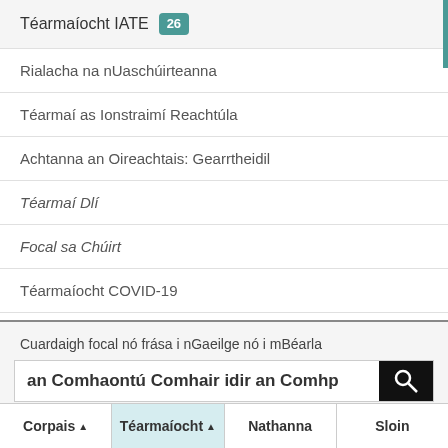Téarmaíocht IATE 26
Rialacha na nUaschúirteanna
Téarmaí as Ionstraimí Reachtúla
Achtanna an Oireachtais: Gearrtheidil
Téarmaí Dlí
Focal sa Chúirt
Téarmaíocht COVID-19
Cuardaigh focal nó frása i nGaeilge nó i mBéarla
an Comhaontú Comhair idir an Comhp
Corpais ▲   Téarmaíocht ▲   Nathanna   Sloin